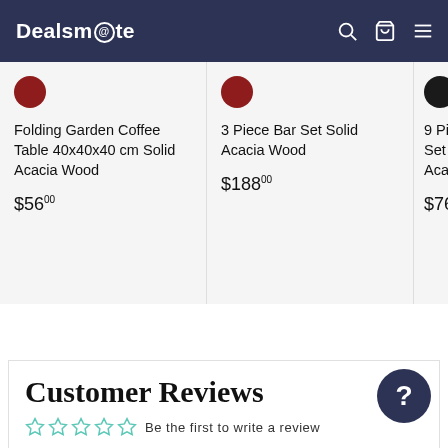Dealsmаte
Folding Garden Coffee Table 40x40x40 cm Solid Acacia Wood
$56.00
3 Piece Bar Set Solid Acacia Wood
$188.00
9 Pie... Set Po... Acac...
$765
Customer Reviews
Be the first to write a review